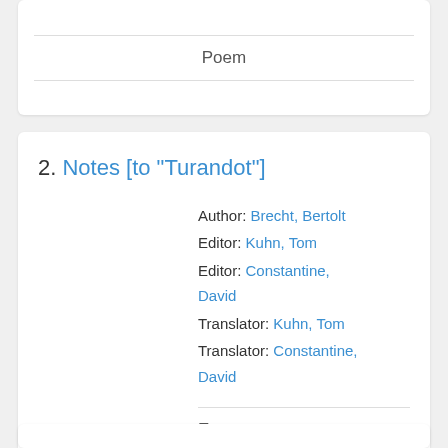Poem
2. Notes [to "Turandot"]
Author: Brecht, Bertolt
Editor: Kuhn, Tom
Editor: Constantine, David
Translator: Kuhn, Tom
Translator: Constantine, David
Essay